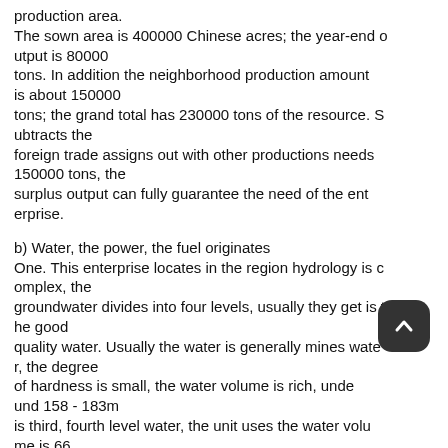production area. The sown area is 400000 Chinese acres; the year-end output is 80000 tons. In addition the neighborhood production amount is about 150000 tons; the grand total has 230000 tons of the resource. Subtracts the foreign trade assigns out with other productions needs 150000 tons, the surplus output can fully guarantee the need of the enterprise.
b) Water, the power, the fuel originates One. This enterprise locates in the region hydrology is complex, the groundwater divides into four levels, usually they get is the good quality water. Usually the water is generally mines water, the degree of hardness is small, the water volume is rich, underground 158 - 183m is third, fourth level water, the unit uses the water volume is 66 cubic meters / o'clock meter.